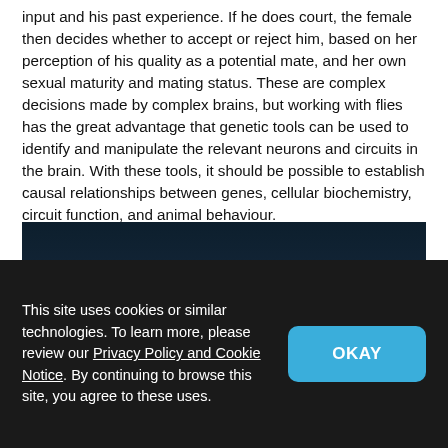input and his past experience. If he does court, the female then decides whether to accept or reject him, based on her perception of his quality as a potential mate, and her own sexual maturity and mating status. These are complex decisions made by complex brains, but working with flies has the great advantage that genetic tools can be used to identify and manipulate the relevant neurons and circuits in the brain. With these tools, it should be possible to establish causal relationships between genes, cellular biochemistry, circuit function, and animal behaviour.
[Figure (photo): Dark blue/navy gradient image, likely a scientific photo or video frame with a subtle glowing element near the bottom center.]
This site uses cookies or similar technologies. To learn more, please review our Privacy Policy and Cookie Notice. By continuing to browse this site, you agree to these uses.